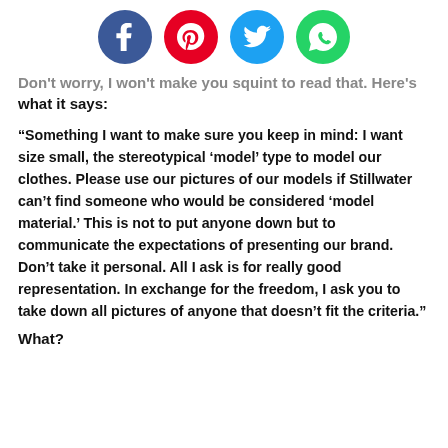[Figure (infographic): Social media share buttons: Facebook (blue circle), Pinterest (red circle), Twitter (blue circle), WhatsApp (green circle)]
Don't worry, I won't make you squint to read that. Here's what it says:
“Something I want to make sure you keep in mind: I want size small, the stereotypical ‘model’ type to model our clothes. Please use our pictures of our models if Stillwater can’t find someone who would be considered ‘model material.’ This is not to put anyone down but to communicate the expectations of presenting our brand. Don’t take it personal. All I ask is for really good representation. In exchange for the freedom, I ask you to take down all pictures of anyone that doesn’t fit the criteria.”
What?